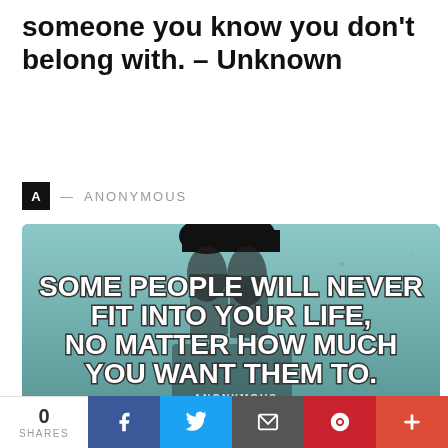someone you know you don't belong with. – Unknown
A — ANONYMOUS
[Figure (photo): Motivational quote image showing a person's boots on a reflective surface with bold white text reading: SOME PEOPLE WILL NEVER FIT INTO YOUR LIFE, NO MATTER HOW MUCH YOU WANT THEM TO. – ANONYMOUS]
0 SHARES | Facebook | Twitter | Email | Pinterest | Plus